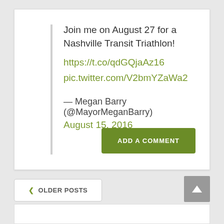Join me on August 27 for a Nashville Transit Triathlon!
https://t.co/qdGQjaAz16
pic.twitter.com/V2bmYZaWa2

— Megan Barry (@MayorMeganBarry)
August 15, 2016
ADD A COMMENT
❮ OLDER POSTS